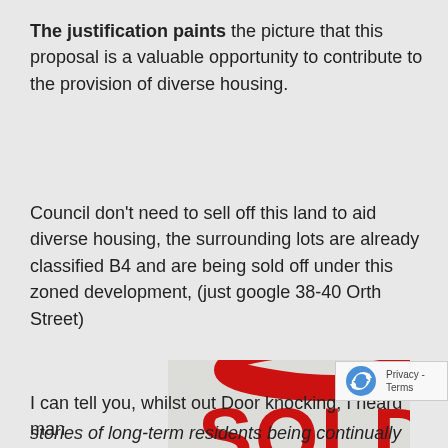The justification paints the picture that this proposal is a valuable opportunity to contribute to the provision of diverse housing.
Council don't need to sell off this land to aid diverse housing, the surrounding lots are already classified B4 and are being sold off under this zoned development, (just google 38-40 Orth Street)
[Figure (photo): Photo of a real estate sign reading 'SOLD' in large red letters, with text below reading 'B4 ZONED DEVELOPMENT SITE 38-40 ORTH STREET']
I can tell you, whilst out Door knocking, I heard man stories of long-term residents being continually harassed by